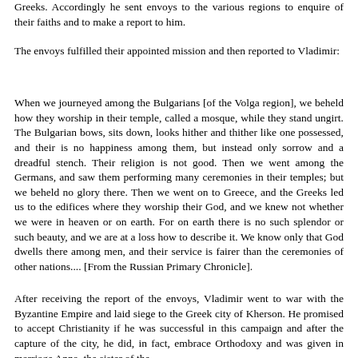Greeks. Accordingly he sent envoys to the various regions to enquire of their faiths and to make a report to him.
The envoys fulfilled their appointed mission and then reported to Vladimir:
When we journeyed among the Bulgarians [of the Volga region], we beheld how they worship in their temple, called a mosque, while they stand ungirt. The Bulgarian bows, sits down, looks hither and thither like one possessed, and their is no happiness among them, but instead only sorrow and a dreadful stench. Their religion is not good. Then we went among the Germans, and saw them performing many ceremonies in their temples; but we beheld no glory there. Then we went on to Greece, and the Greeks led us to the edifices where they worship their God, and we knew not whether we were in heaven or on earth. For on earth there is no such splendor or such beauty, and we are at a loss how to describe it. We know only that God dwells there among men, and their service is fairer than the ceremonies of other nations.... [From the Russian Primary Chronicle].
After receiving the report of the envoys, Vladimir went to war with the Byzantine Empire and laid siege to the Greek city of Kherson. He promised to accept Christianity if he was successful in this campaign and after the capture of the city, he did, in fact, embrace Orthodoxy and was given in marriage Anna, the sister of the